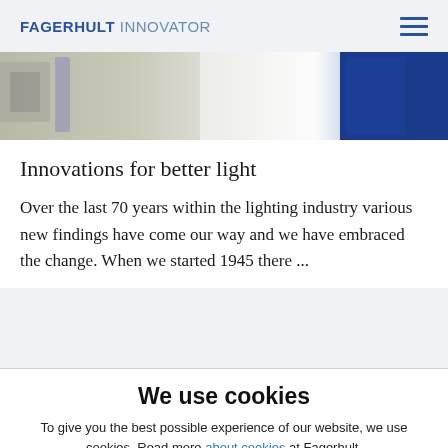FAGERHULT INNOVATOR
[Figure (photo): Partial view of a laboratory or office environment with blue and white elements, showing equipment and surfaces.]
Innovations for better light
Over the last 70 years within the lighting industry various new findings have come our way and we have embraced the change. When we started 1945 there ...
We use cookies
To give you the best possible experience of our website, we use cookies. Read more about cookies at Fagerhult.
MANAGE COOKIES   ACCEPT ALL COOKIES